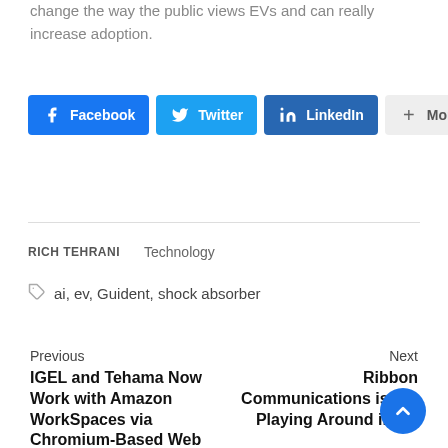change the way the public views EVs and can really increase adoption.
[Figure (other): Social share buttons: Facebook, Twitter, LinkedIn, More]
RICH TEHRANI   Technology
ai, ev, Guident, shock absorber
Previous
IGEL and Tehama Now Work with Amazon WorkSpaces via Chromium-Based Web Browsers
Next
Ribbon Communications is not Playing Around in 5G